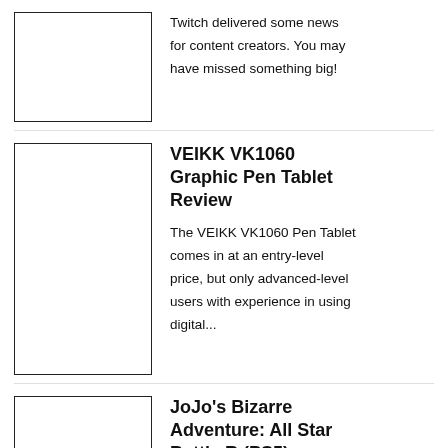[Figure (photo): Thumbnail image placeholder, first article]
Twitch delivered some news for content creators. You may have missed something big!
[Figure (photo): Thumbnail image placeholder, second article]
VEIKK VK1060 Graphic Pen Tablet Review
The VEIKK VK1060 Pen Tablet comes in at an entry-level price, but only advanced-level users with experience in using digital...
[Figure (photo): Thumbnail image placeholder, third article]
JoJo's Bizarre Adventure: All Star Battle R (PS5)